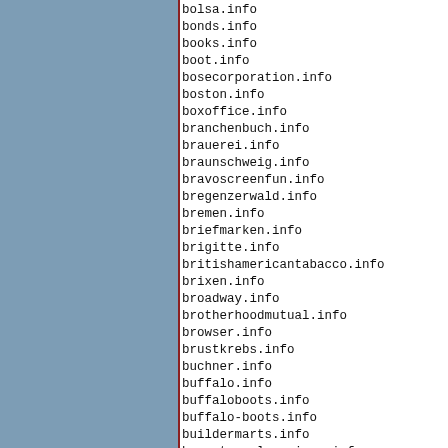bolsa.info
bonds.info
books.info
boot.info
bosecorporation.info
boston.info
boxoffice.info
branchenbuch.info
brauerei.info
braunschweig.info
bravoscreenfun.info
bregenzerwald.info
bremen.info
briefmarken.info
brigitte.info
britishamericantabacco.info
brixen.info
broadway.info
brotherhoodmutual.info
browser.info
brustkrebs.info
buchner.info
buffalo.info
buffaloboots.info
buffalo-boots.info
buildermarts.info
bunactravelservices.info
burgos.info
buydomain.info
buymine.info
byte.info
byteburg.info